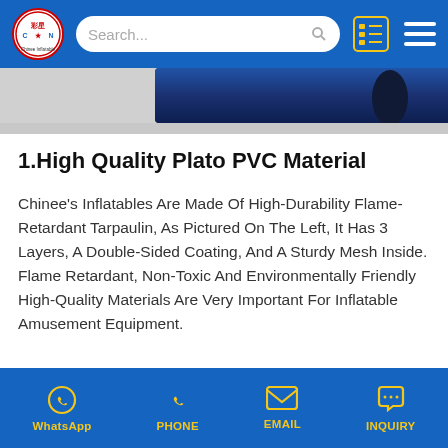Chinee Inflatable website header with logo, search bar, list icon, and menu icon
[Figure (photo): Blue PVC roll material shown from top, partial view]
1.High Quality Plato PVC Material
Chinee's Inflatables Are Made Of High-Durability Flame-Retardant Tarpaulin, As Pictured On The Left, It Has 3 Layers, A Double-Sided Coating, And A Sturdy Mesh Inside. Flame Retardant, Non-Toxic And Environmentally Friendly High-Quality Materials Are Very Important For Inflatable Amusement Equipment.
[Figure (photo): Partial view of orange and brown material rolls]
WhatsApp  PHONE  EMAIL  INQUIRY